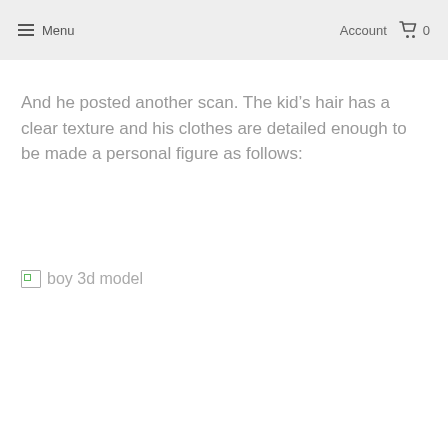Menu  Account  0
And he posted another scan. The kid’s hair has a clear texture and his clothes are detailed enough to be made a personal figure as follows:
[Figure (photo): Broken image placeholder labeled 'boy 3d model']